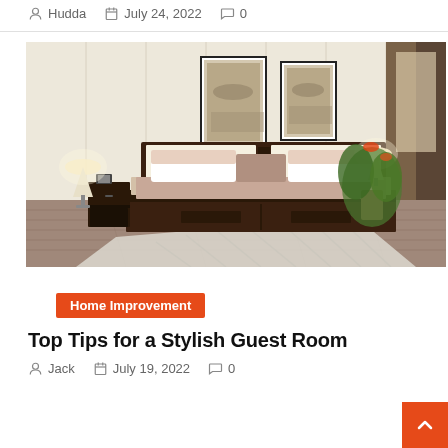Hudda   July 24, 2022   0
[Figure (photo): Stylish bedroom with dark walnut wood king-size bed with padded headboard, two nightstands with lamps, wall art frames, indoor plants, hardwood floor and patterned rug.]
Home Improvement
Top Tips for a Stylish Guest Room
Jack   July 19, 2022   0